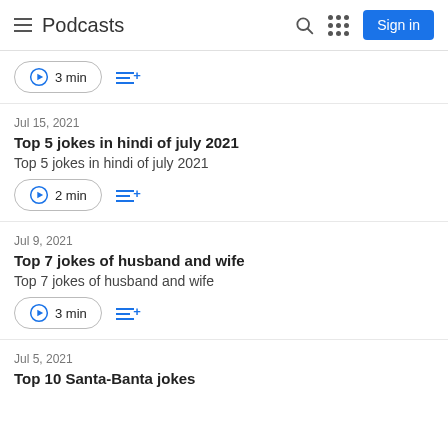Podcasts
3 min
Jul 15, 2021 | Top 5 jokes in hindi of july 2021 | Top 5 jokes in hindi of july 2021 | 2 min
Jul 9, 2021 | Top 7 jokes of husband and wife | Top 7 jokes of husband and wife | 3 min
Jul 5, 2021 | Top 10 Santa-Banta jokes